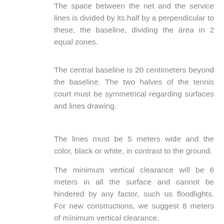The space between the net and the service lines is divided by its half by a perpendicular to these, the baseline, dividing the área in 2 equal zones.
The central baseline is 20 centimeters beyond the baseline. The two halves of the tennis court must be symmetrical regarding surfaces and lines drawing.
The lines must be 5 meters wide and the color, black or white, in contrast to the ground.
The minimum vertical clearance will be 6 meters in all the surface and cannot be hindered by any factor, such us floodlights. For new constructions, we suggest 8 meters of mínimum vertical clearance.